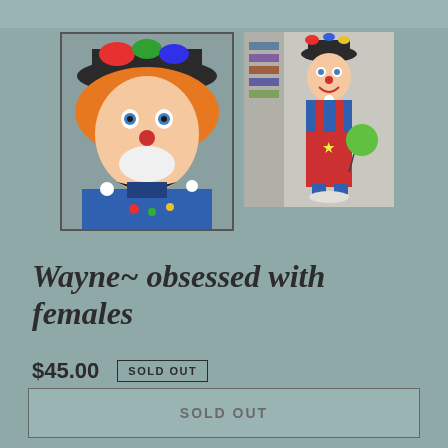[Figure (photo): Two photos of a clown doll/figurine. Left photo shows a close-up of the clown face with orange hair, black hat, blue outfit, and a sequined bow tie. Right photo shows the full-body clown figurine with red overalls, blue top, black hat, and holding a green balloon.]
Wayne~ obsessed with females
$45.00
SOLD OUT
Shipping calculated at checkout.
SOLD OUT